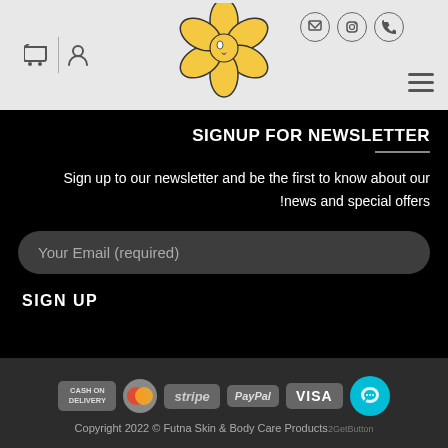[Figure (logo): Yellow flower logo with stylized face in center, black outline]
SIGNUP FOR NEWSLETTER
Sign up to our newsletter and be the first to know about our news and special offers!
Your Email (required)
SIGN UP
[Figure (infographic): Payment method icons: CASH ON DELIVERY, MasterCard, stripe, PayPal, VISA]
Copyright 2022 © Futna Skin & Body Care Products